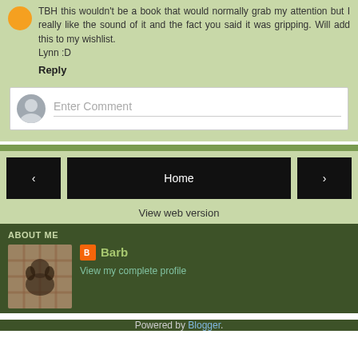TBH this wouldn't be a book that would normally grab my attention but I really like the sound of it and the fact you said it was gripping. Will add this to my wishlist.
Lynn :D
Reply
Enter Comment
Home
View web version
ABOUT ME
[Figure (photo): Profile photo of a dog (pug) lying on a plaid blanket]
Barb
View my complete profile
Powered by Blogger.